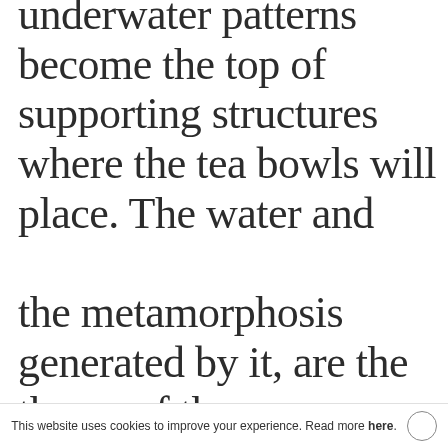underwater patterns become the top of supporting structures where the tea bowls will place. The water and the metamorphosis generated by it, are the theme of the experimentation. The interaction between the elements is the reason of a continuous metamorphosis th...
This website uses cookies to improve your experience. Read more here.